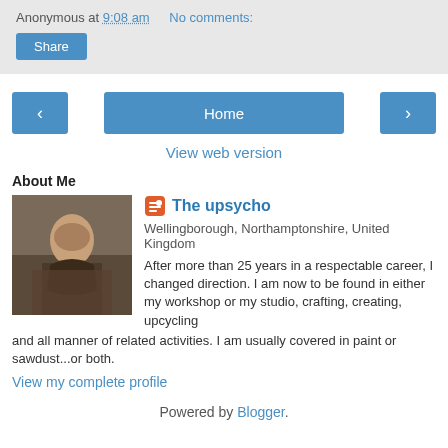Anonymous at 9:08 am   No comments:
Share
< Home >
View web version
About Me
The upsycho
Wellingborough, Northamptonshire, United Kingdom
After more than 25 years in a respectable career, I changed direction. I am now to be found in either my workshop or my studio, crafting, creating, upcycling and all manner of related activities. I am usually covered in paint or sawdust...or both.
View my complete profile
Powered by Blogger.